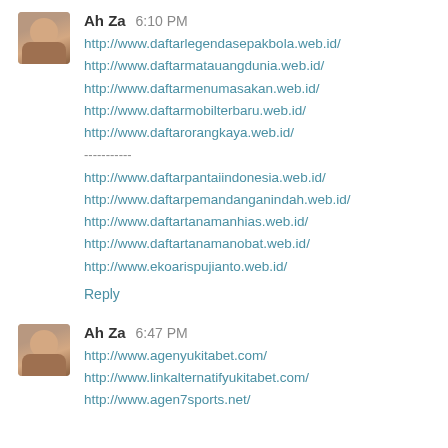Ah Za  6:10 PM
http://www.daftarlegendasepakbola.web.id/
http://www.daftarmatauangdunia.web.id/
http://www.daftarmenumasakan.web.id/
http://www.daftarmobilterbaru.web.id/
http://www.daftarorangkaya.web.id/
-----------
http://www.daftarpantaiindonesia.web.id/
http://www.daftarpemandanganindah.web.id/
http://www.daftartanamanhias.web.id/
http://www.daftartanamanobat.web.id/
http://www.ekoarispujianto.web.id/
Reply
Ah Za  6:47 PM
http://www.agenyukitabet.com/
http://www.linkalternatifyukitabet.com/
http://www.agen7sports.net/